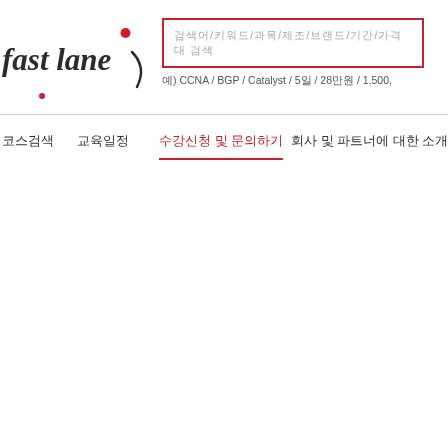[Figure (logo): Fast Lane logo with stylized text and red dot/maple leaf]
검색어/키워드/과목/제조/브랜드/기간/가격대 검색
예) CCNA / BGP / Catalyst / 5일 / 28만원 / 1,500,
코스검색 | 교육일정 | 수강신청 및 문의하기 | 회사 및 파트너에 대한 소개
수강신청 및 문의하기